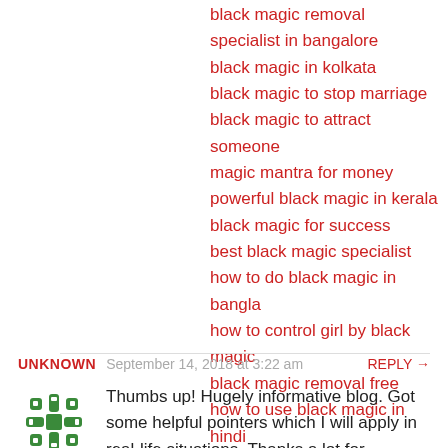black magic removal specialist in bangalore
black magic in kolkata
black magic to stop marriage
black magic to attract someone
magic mantra for money
powerful black magic in kerala
black magic for success
best black magic specialist
how to do black magic in bangla
how to control girl by black magic
black magic removal free
how to use black magic in hindi
UNKNOWN   September 14, 2018 at 3:22 am   REPLY →
Thumbs up! Hugely informative blog. Got some helpful pointers which I will apply in real-life situations. Thanks a lot for uploading this one. I